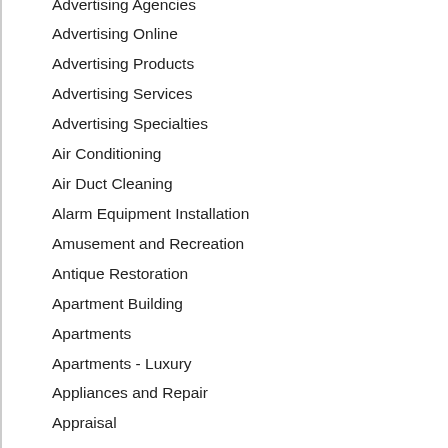Advertising Agencies
Advertising Online
Advertising Products
Advertising Services
Advertising Specialties
Air Conditioning
Air Duct Cleaning
Alarm Equipment Installation
Amusement and Recreation
Antique Restoration
Apartment Building
Apartments
Apartments - Luxury
Appliances and Repair
Appraisal